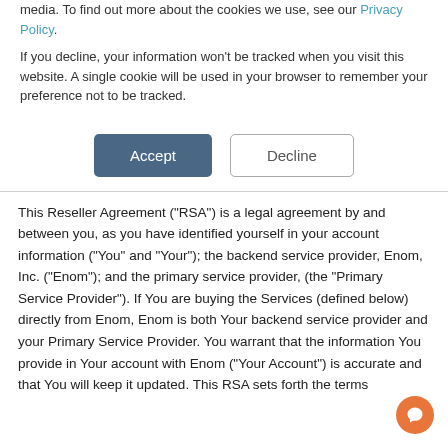media. To find out more about the cookies we use, see our Privacy Policy.
If you decline, your information won't be tracked when you visit this website. A single cookie will be used in your browser to remember your preference not to be tracked.
[Figure (other): Accept and Decline buttons]
This Reseller Agreement (“RSA”) is a legal agreement by and between you, as you have identified yourself in your account information (“You” and “Your”); the backend service provider, Enom, Inc. (“Enom”); and the primary service provider, (the “Primary Service Provider”). If You are buying the Services (defined below) directly from Enom, Enom is both Your backend service provider and your Primary Service Provider. You warrant that the information You provide in Your account with Enom (“Your Account”) is accurate and that You will keep it updated. This RSA sets forth the terms